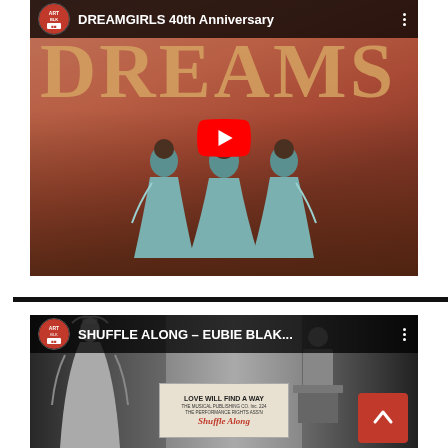[Figure (screenshot): YouTube video thumbnail for 'DREAMGIRLS 40th Anniversary' showing three women in teal gowns on stage in front of large golden DREAMS letters, with a red YouTube play button overlay and the video title in the top bar.]
[Figure (screenshot): YouTube video thumbnail for 'SHUFFLE ALONG - EUBIE BLAK...' showing a black and white photo collage with performers and a 'Love Will Find A Way' sheet music cover with 'Shuffle Along' text, with a back-to-top red button overlay.]